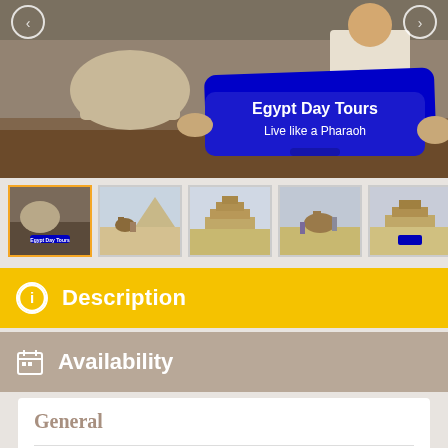[Figure (photo): Main photo showing Egypt Day Tours sign with blue paddle reading 'Egypt Day Tours - Live like a Pharaoh', with ancient Egyptian statues/Sphinx in background]
[Figure (photo): Row of 5 thumbnail photos showing various Egypt tour scenes including pyramids, camels, and tour groups]
Description
Availability
General
Sakkara , Memphis and Dahshur